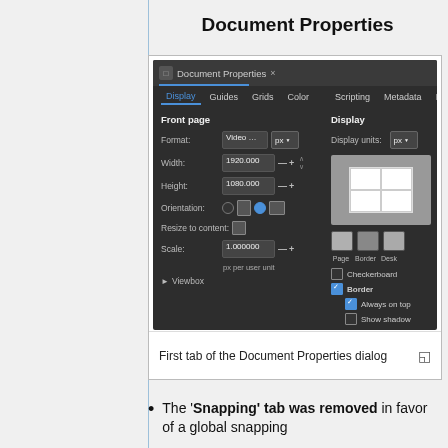Document Properties
[Figure (screenshot): Screenshot of the Inkscape Document Properties dialog showing the Display tab with Front page settings (Format: Video, Width: 1920.000, Height: 1080.000, Orientation, Resize to content, Scale: 1.000000, Viewbox) on the left and Display settings (Display units: px, page preview, Page/Border/Desk swatches, Checkerboard, Border, Always on top, Show shadow checkboxes, Render with Use antialiasing) on the right.]
First tab of the Document Properties dialog
The 'Snapping' tab was removed in favor of a global snapping